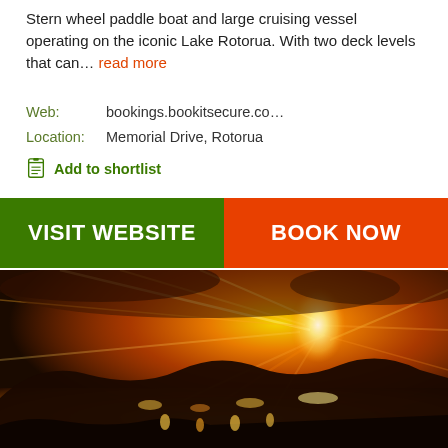Stern wheel paddle boat and large cruising vessel operating on the iconic Lake Rotorua. With two deck levels that can… read more
Web: bookings.bookitsecure.co…
Location: Memorial Drive, Rotorua
Add to shortlist
VISIT WEBSITE
BOOK NOW
[Figure (photo): Painting of a volcanic eruption at night over a lake, with dramatic orange and yellow sky, glowing lava and reflections on the water, dark silhouetted hills in the foreground.]